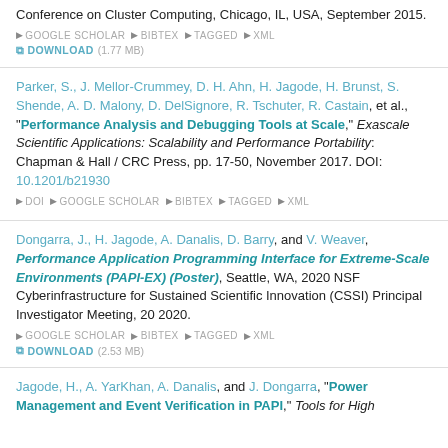Conference on Cluster Computing, Chicago, IL, USA, September 2015. GOOGLE SCHOLAR BIBTEX TAGGED XML DOWNLOAD (1.77 MB)
Parker, S., J. Mellor-Crummey, D. H. Ahn, H. Jagode, H. Brunst, S. Shende, A. D. Malony, D. DelSignore, R. Tschuter, R. Castain, et al., "Performance Analysis and Debugging Tools at Scale," Exascale Scientific Applications: Scalability and Performance Portability: Chapman & Hall / CRC Press, pp. 17-50, November 2017. DOI: 10.1201/b21930. DOI GOOGLE SCHOLAR BIBTEX TAGGED XML
Dongarra, J., H. Jagode, A. Danalis, D. Barry, and V. Weaver, Performance Application Programming Interface for Extreme-Scale Environments (PAPI-EX) (Poster), Seattle, WA, 2020 NSF Cyberinfrastructure for Sustained Scientific Innovation (CSSI) Principal Investigator Meeting, 20 2020. GOOGLE SCHOLAR BIBTEX TAGGED XML DOWNLOAD (2.53 MB)
Jagode, H., A. YarKhan, A. Danalis, and J. Dongarra, "Power Management and Event Verification in PAPI," Tools for High Performance Computing...